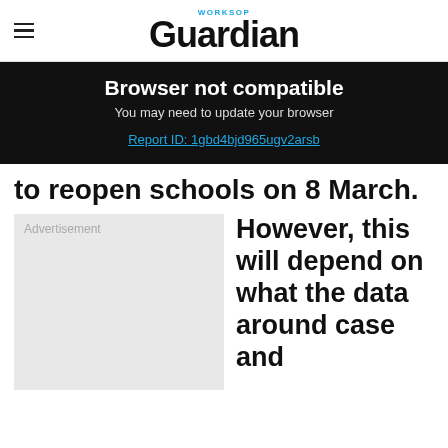Worksop Guardian
Browser not compatible
You may need to update your browser
Report ID: 1gbd4bjd965ugv2arsb
to reopen schools on 8 March.
Advertisement
However, this will depend on what the data around case and